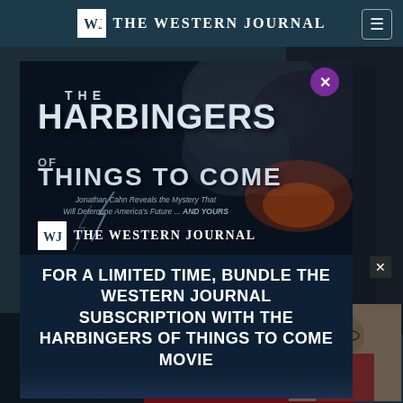THE WESTERN JOURNAL
[Figure (screenshot): Modal popup advertisement showing 'The Harbingers of Things to Come' movie promotion with The Western Journal subscription bundle offer. Dark blue background with explosive smoke imagery. Text reads: 'Jonathan Cahn Reveals the Mystery That Will Determine America's Future ... AND YOURS'. Bottom section: 'FOR A LIMITED TIME, BUNDLE THE WESTERN JOURNAL SUBSCRIPTION WITH THE HARBINGERS OF THINGS TO COME MOVIE']
FOR A LIMITED TIME, BUNDLE THE WESTERN JOURNAL SUBSCRIPTION WITH THE HARBINGERS OF THINGS TO COME MOVIE